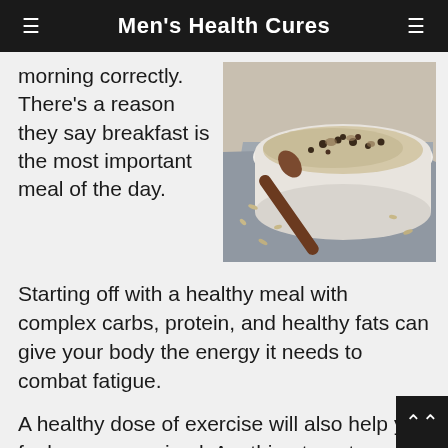Men's Health Cures
morning correctly. There's a reason they say breakfast is the most important meal of the day.
[Figure (photo): A bowl of oatmeal topped with nuts and seeds, with a wooden spoon beside it on a white cloth]
Starting off with a healthy meal with complex carbs, protein, and healthy fats can give your body the energy it needs to combat fatigue.
A healthy dose of exercise will also help you feel more energized. Anything to get your body moving will help prepare your mind for the day. Don't feel pressured to go on a mile-long run.